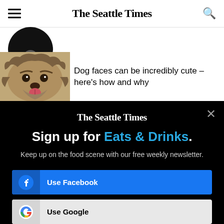The Seattle Times
[Figure (photo): Partial view of a circular avatar/photo at top left, showing a dark silhouette]
[Figure (photo): Close-up photo of a shaggy dog with tongue out]
Dog faces can be incredibly cute – here's how and why
[Figure (screenshot): Black modal popup overlay with The Seattle Times logo, newsletter sign-up prompt for Eats & Drinks, Facebook and Google login buttons]
The Seattle Times
Sign up for Eats & Drinks.
Keep up on the food scene with our free weekly newsletter.
Use Facebook
Use Google